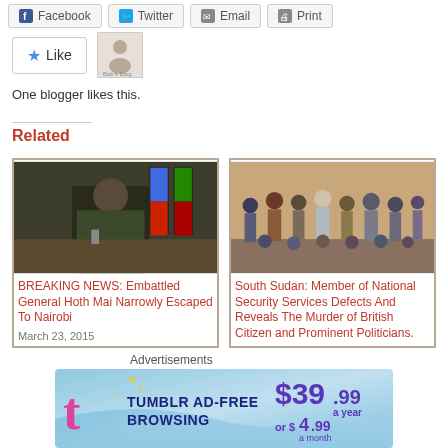[Figure (other): Share buttons row: Facebook, Twitter, Email, Print]
[Figure (other): Like button with star icon and blogger avatar thumbnail]
One blogger likes this.
Related
[Figure (photo): Photo of a military general seated at a desk with flags behind him]
BREAKING NEWS: Embattled General Hoth Mai Narrowly Escaped To Nairobi
March 23, 2015
[Figure (photo): Photo of a group of soldiers and officials standing together outdoors]
South Sudan: Member of National Security Services Defects And Reveals The Murder of British Citizen and Prominent Politicians.
Advertisements
[Figure (other): Tumblr AD-FREE BROWSING advertisement banner. $39.99 a year or $4.99 a month]